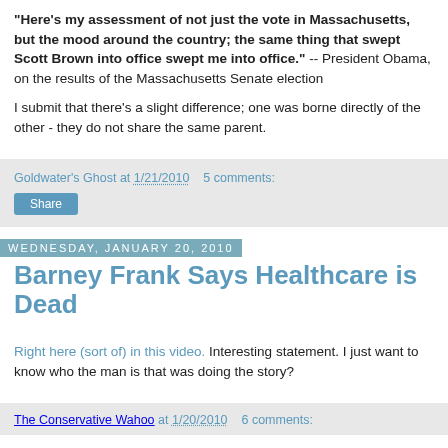"Here's my assessment of not just the vote in Massachusetts, but the mood around the country; the same thing that swept Scott Brown into office swept me into office." -- President Obama, on the results of the Massachusetts Senate election

I submit that there's a slight difference; one was borne directly of the other - they do not share the same parent.
Goldwater's Ghost at 1/21/2010   5 comments:
Share
Wednesday, January 20, 2010
Barney Frank Says Healthcare is Dead
Right here (sort of) in this video. Interesting statement. I just want to know who the man is that was doing the story?
The Conservative Wahoo at 1/20/2010   6 comments: